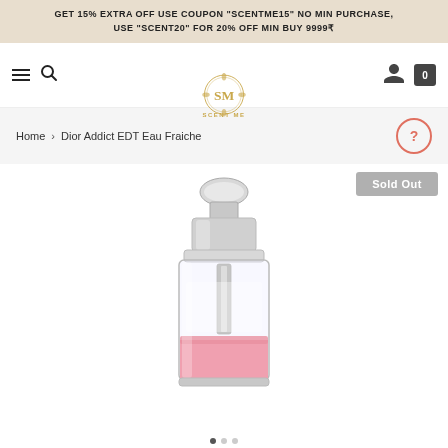GET 15% EXTRA OFF USE COUPON 'SCENTME15' NO MIN PURCHASE, USE 'SCENT20' FOR 20% OFF MIN BUY 9999₹
[Figure (logo): Scent Me logo — ornate gold circular monogram with 'SM' letters, text 'SCENT ME' below in gold]
Home › Dior Addict EDT Eau Fraiche
Sold Out
[Figure (photo): Dior Addict EDT Eau Fraiche perfume bottle — transparent rectangular glass bottle with silver cap and pink liquid base]